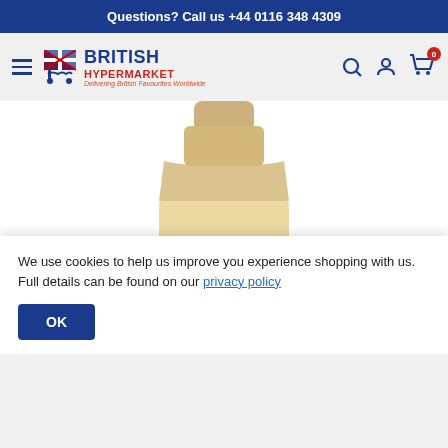Questions? Call us +44 0116 348 4309
[Figure (logo): British Hypermarket logo with shopping cart icon and UK flag, tagline: Delivering British Favourites Worldwide]
[Figure (photo): Plastic bottle of Chef's Larder oil product with label showing barcode 141484]
We use cookies to help us improve you experience shopping with us. Full details can be found on our privacy policy
OK